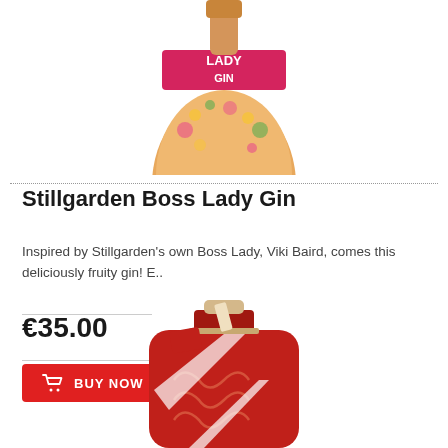[Figure (photo): Partial view of Stillgarden Boss Lady Gin bottle — floral-decorated bottle with pink label, cropped at top]
Stillgarden Boss Lady Gin
Inspired by Stillgarden's own Boss Lady, Viki Baird, comes this deliciously fruity gin! E..
€35.00
BUY NOW
[Figure (photo): Red ceramic gin bottle with intricate swirl pattern and cork stopper with tag, shown partially cropped at bottom]